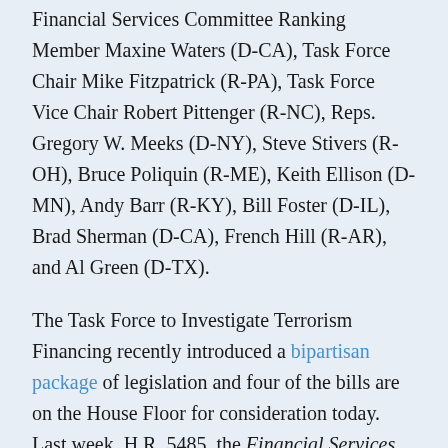Financial Services Committee Ranking Member Maxine Waters (D-CA), Task Force Chair Mike Fitzpatrick (R-PA), Task Force Vice Chair Robert Pittenger (R-NC), Reps. Gregory W. Meeks (D-NY), Steve Stivers (R-OH), Bruce Poliquin (R-ME), Keith Ellison (D-MN), Andy Barr (R-KY), Bill Foster (D-IL), Brad Sherman (D-CA), French Hill (R-AR), and Al Green (D-TX).
The Task Force to Investigate Terrorism Financing recently introduced a bipartisan package of legislation and four of the bills are on the House Floor for consideration today. Last week, H.R. 5485, the Financial Services and General Government Appropriations Act, 2017, included an amendment from